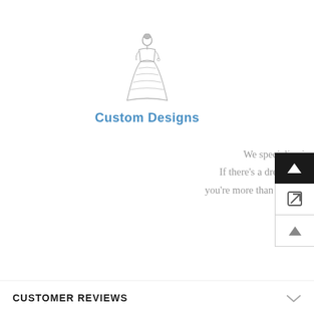[Figure (illustration): Sketch illustration of a woman in a ball gown / formal dress, drawn in pencil/ink style]
Custom Designs
We specialize in custom design services. If there's a dress you like and it's not on our website, you're more than welcome to email us a picture of the dress for a quote.
CUSTOMER REVIEWS